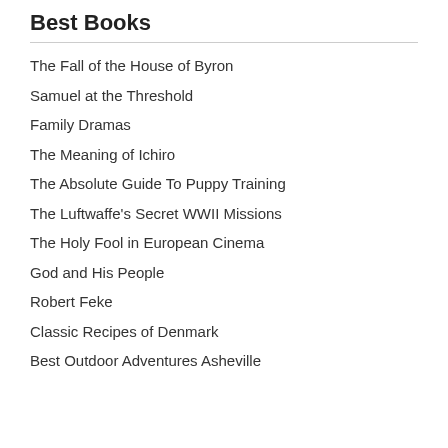Best Books
The Fall of the House of Byron
Samuel at the Threshold
Family Dramas
The Meaning of Ichiro
The Absolute Guide To Puppy Training
The Luftwaffe's Secret WWII Missions
The Holy Fool in European Cinema
God and His People
Robert Feke
Classic Recipes of Denmark
Best Outdoor Adventures Asheville